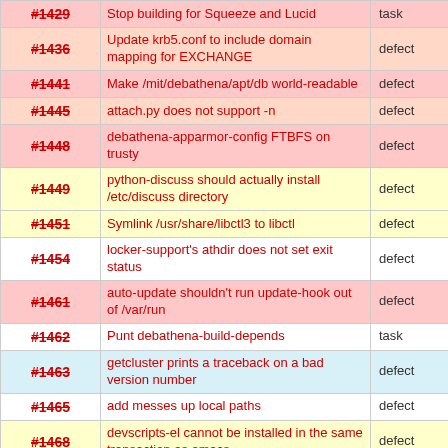| # | Description | Type |
| --- | --- | --- |
| #1429 | Stop building for Squeeze and Lucid | task |
| #1436 | Update krb5.conf to include domain mapping for EXCHANGE | defect |
| #1441 | Make /mit/debathena/apt/db world-readable | defect |
| #1445 | attach.py does not support -n | defect |
| #1448 | debathena-apparmor-config FTBFS on trusty | defect |
| #1449 | python-discuss should actually install /etc/discuss directory | defect |
| #1451 | Symlink /usr/share/libctl3 to libctl | defect |
| #1454 | locker-support's athdir does not set exit status | defect |
| #1461 | auto-update shouldn't run update-hook out of /var/run | defect |
| #1462 | Punt debathena-build-depends | task |
| #1463 | getcluster prints a traceback on a bad version number | defect |
| #1465 | add messes up local paths | defect |
| #1468 | devscripts-el cannot be installed in the same transaction as emacs | defect |
| #1478 | policy-rc.d in reactivate gets scribbled over by d-i, and is also obsolete | defect |
| #1481 | Unity puts non-ephemeral data in XDG_CACHE_HOME | defect |
| #1482 | Update getty.debathena for logind | defect |
| #1489 | dconf-config sticks around after an uninstall | defect |